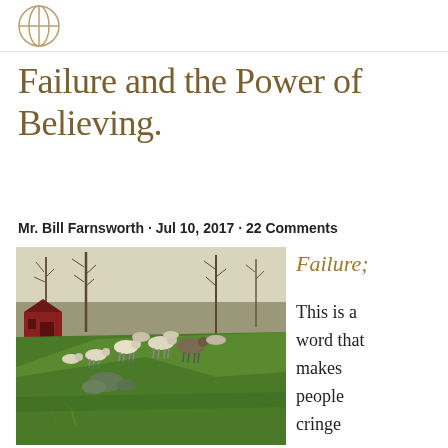[logo]
Failure and the Power of Believing.
Mr. Bill Farnsworth · Jul 10, 2017 · 22 Comments
[Figure (photo): Painting of sheep grazing on a green hillside with bare trees and a red barn structure in the background, in a realistic oil-painting style.]
Failure;

This is a word that makes people cringe